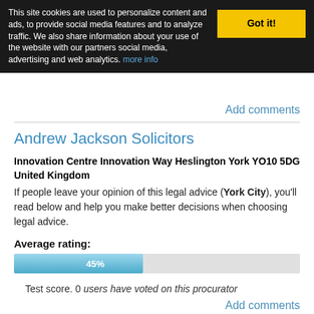This site cookies are used to personalize content and ads, to provide social media features and to analyze traffic. We also share information about your use of the website with our partners social media, advertising and web analytics. more info
Add comments
Andrew Jackson Solicitors
Innovation Centre Innovation Way Heslington York YO10 5DG United Kingdom
If people leave your opinion of this legal advice (York City), you'll read below and help you make better decisions when choosing legal advice.
Average rating:
[Figure (bar-chart): Average rating]
Test score. 0 users have voted on this procurator
Add comments